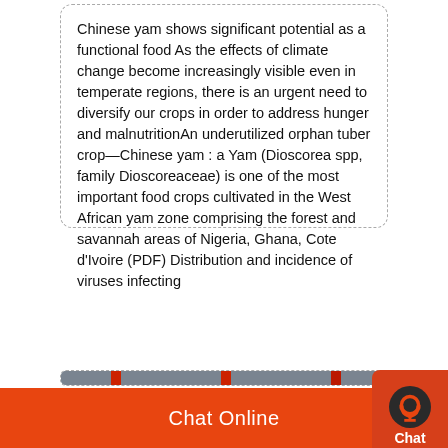Chinese yam shows significant potential as a functional food As the effects of climate change become increasingly visible even in temperate regions, there is an urgent need to diversify our crops in order to address hunger and malnutritionAn underutilized orphan tuber crop—Chinese yam : a Yam (Dioscorea spp, family Dioscoreaceae) is one of the most important food crops cultivated in the West African yam zone comprising the forest and savannah areas of Nigeria, Ghana, Cote d'Ivoire (PDF) Distribution and incidence of viruses infecting
[Figure (photo): Industrial facility photo showing machinery, orange/yellow cables or pipes, red metal structure, scaffolding in an industrial building interior.]